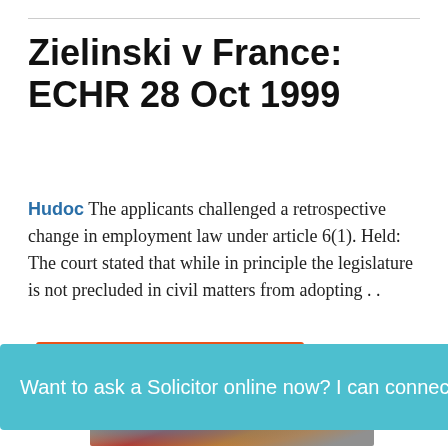Zielinski v France: ECHR 28 Oct 1999
Hudoc The applicants challenged a retrospective change in employment law under article 6(1). Held: The court stated that while in principle the legislature is not precluded in civil matters from adopting . .
[Figure (infographic): Orange Direct Relief advertisement banner: Help send medical aid to Ukraine >>]
[Figure (photo): Partial photo of an airplane with colorful markings]
[Figure (infographic): Teal chat bar: Want to ask a Solicitor online now? I can connect you ... with avatar photo and notification badge showing 1]